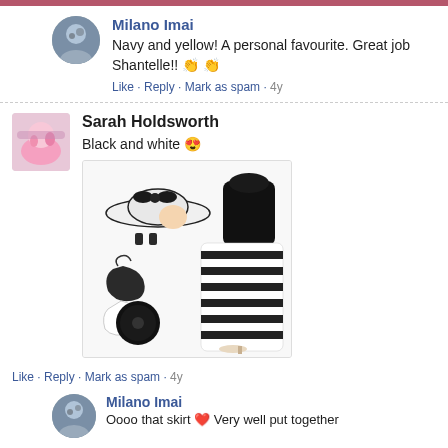Milano Imai
Navy and yellow! A personal favourite. Great job Shantelle!! 👏👏
Like · Reply · Mark as spam · 4y
Sarah Holdsworth
Black and white 😍
[Figure (photo): Fashion collage showing black and white outfit: wide-brim hat with black bow, black structured jacket/top, black and white horizontal striped skirt, black drop earrings, black leather gloves, white gloves, black round clutch bag, beige heels]
Like · Reply · Mark as spam · 4y
Milano Imai
Oooo that skirt ❤️ Very well put together